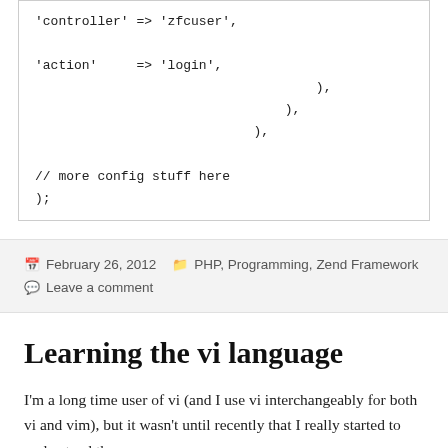'controller' => 'zfcuser',

'action'     => 'login',
                                    ),
                                ),
                            ),

// more config stuff here
);
February 26, 2012   PHP, Programming, Zend Framework
Leave a comment
Learning the vi language
I'm a long time user of vi (and I use vi interchangeably for both vi and vim), but it wasn't until recently that I really started to understand the